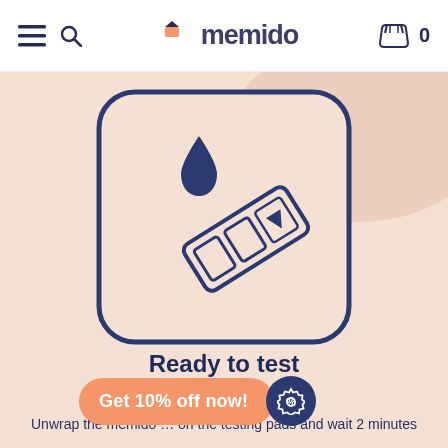memido — menu, search, cart (0)
[Figure (illustration): A rounded square box with a dark navy border on a peach/salmon background, containing an illustration of a medical/diagnostic test strip at an angle with a water drop above it. The test strip has two rectangular windows and a small triangular marker.]
Ready to test
Unwrap the memido … on the testing pads and wait 2 minutes
Get 10% off now!